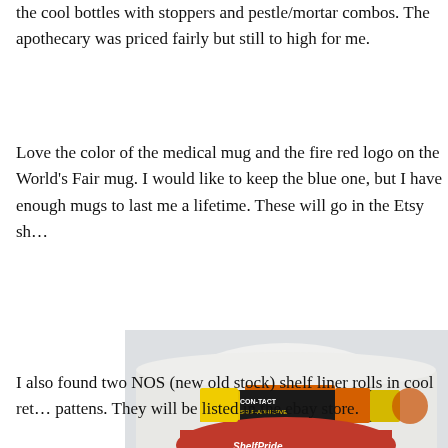the cool bottles with stoppers and pestle/mortar combos. The apothecary was priced fairly but still to high for me.
Love the color of the medical mug and the fire red logo on the World's Fair mug. I would like to keep the blue one, but I have enough mugs to last me a lifetime. These will go in the Etsy sh…
[Figure (photo): Photo of two shelf liner rolls — one white speckled roll and one with a label showing 'Con-Tact ShelfPride self adhesive vinyl, 3 yds long 18 in wide' in black, orange, red, and yellow packaging.]
I also found two NOS (new old stock) shelf liner rolls in cool ret… pattens. They will be listed in the ebay store.